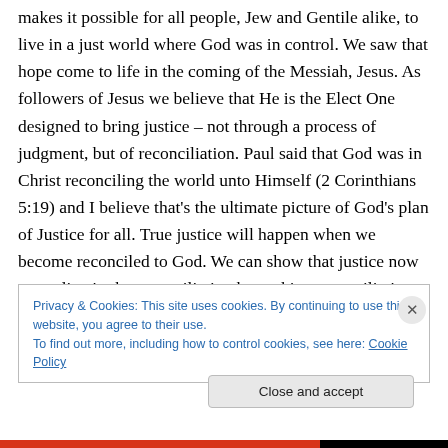makes it possible for all people, Jew and Gentile alike, to live in a just world where God was in control. We saw that hope come to life in the coming of the Messiah, Jesus. As followers of Jesus we believe that He is the Elect One designed to bring justice – not through a process of judgment, but of reconciliation. Paul said that God was in Christ reconciling the world unto Himself (2 Corinthians 5:19) and I believe that's the ultimate picture of God's plan of Justice for all. True justice will happen when we become reconciled to God. We can show that justice now as we live in the reconciliation by seeking reconciliation and
Privacy & Cookies: This site uses cookies. By continuing to use this website, you agree to their use.
To find out more, including how to control cookies, see here: Cookie Policy